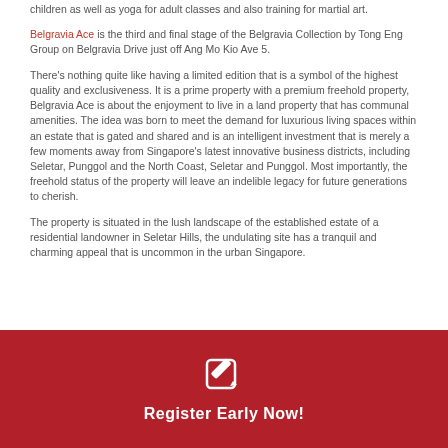children as well as yoga for adult classes and also training for martial art.
Belgravia Ace is the third and final stage of the Belgravia Collection by Tong Eng Group on Belgravia Drive just off Ang Mo Kio Ave 5.
There's nothing quite like having a limited edition that is a symbol of the highest quality and exclusiveness. It is a prime property with a premium freehold property, Belgravia Ace is about the enjoyment to live in a land property that has communal amenities. The idea was born to meet the demand for luxurious living spaces within an estate that is gated and shared and is an intelligent investment that is merely a few moments away from Singapore's latest innovative business districts, including Seletar, Punggol and the North Coast, Seletar and Punggol. Most importantly, the freehold status of the property will leave an indelible legacy for future generations to cherish.
The property is situated in the lush landscape of the established estate of a residential landowner in Seletar Hills, the undulating site has a tranquil and charming appeal that is uncommon in the urban Singapore.
[Figure (other): Red banner with a white edit/register icon and text 'Register Early Now!']